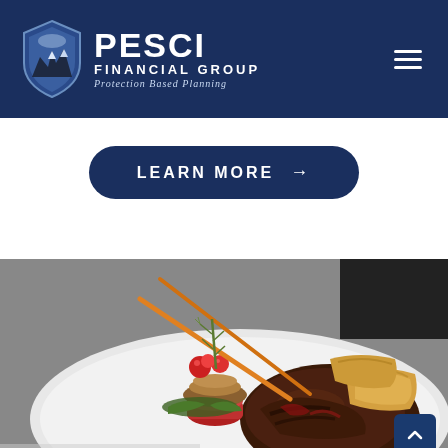[Figure (logo): PESCI Financial Group logo with shield icon and tagline 'Protection Based Planning' on dark navy background header with hamburger menu icon]
[Figure (other): Dark navy rounded rectangle button with text 'LEARN MORE' and right arrow]
[Figure (photo): Close-up food photograph of a gourmet steak dish with garnishes, cherry tomatoes, rosemary, orange skewer sticks, and potato wedges on a white plate]